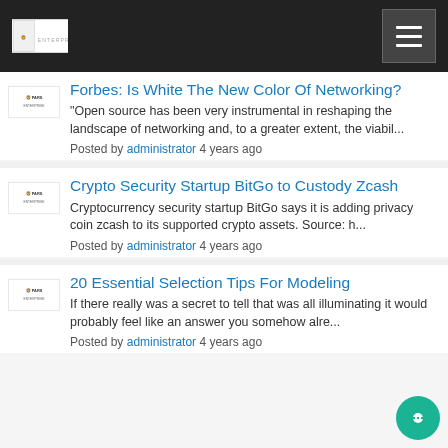PARS ENTERPRISE
Forbes: Is White The New Color Of Networking?
“Open source has been very instrumental in reshaping the landscape of networking and, to a greater extent, the viabil...
Posted by administrator 4 years ago
Crypto Security Startup BitGo to Custody Zcash
Cryptocurrency security startup BitGo says it is adding privacy coin zcash to its supported crypto assets. Source: h...
Posted by administrator 4 years ago
20 Essential Selection Tips For Modeling
If there really was a secret to tell that was all illuminating it would probably feel like an answer you somehow alre...
Posted by administrator 4 years ago